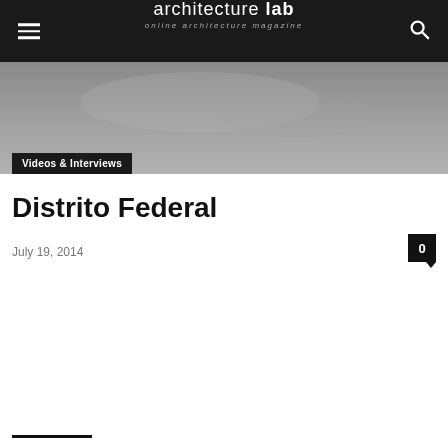architecture lab — online architecture magazine
[Figure (photo): Hero image showing an architectural or urban scene in greyscale/muted tones]
Videos & Interviews
Distrito Federal
July 19, 2014